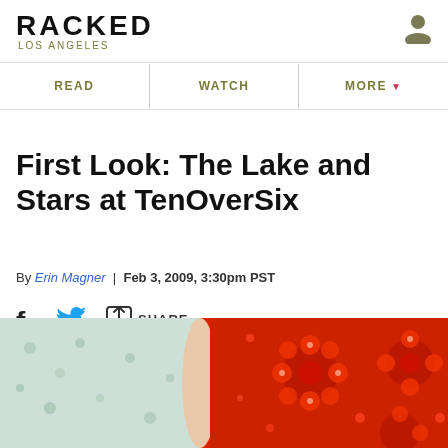RACKED LOS ANGELES
READ | WATCH | MORE
First Look: The Lake and Stars at TenOverSix
By Erin Magner | Feb 3, 2009, 3:30pm PST
f [twitter] SHARE
[Figure (photo): Close-up of clothing items: a light blue floral garment on the left and a red sequined/beaded floral pattern on the right, held by a person's hands.]